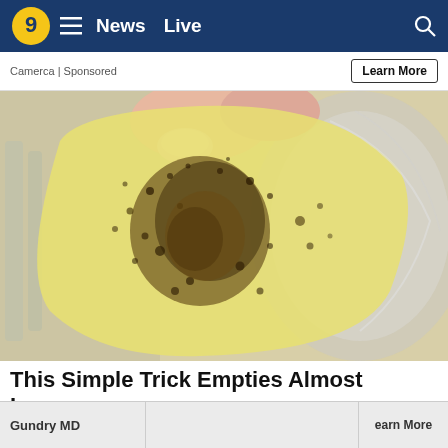9  ≡  News  Live  🔍
Camerca | Sponsored
Learn More
[Figure (photo): Close-up photo of a hand with long nails holding a translucent yellowish strip or gel-like substance covered with dark brown/green granular particles, held over a glass or crystal bowl.]
This Simple Trick Empties Almost Immediately
Gundry MD
Learn More